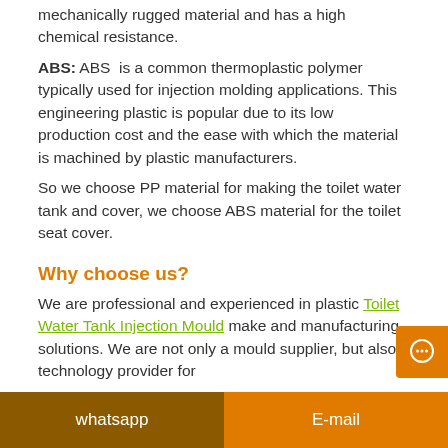mechanically rugged material and has a high chemical resistance.
ABS: ABS is a common thermoplastic polymer typically used for injection molding applications. This engineering plastic is popular due to its low production cost and the ease with which the material is machined by plastic manufacturers.
So we choose PP material for making the toilet water tank and cover, we choose ABS material for the toilet seat cover.
Why choose us?
We are professional and experienced in plastic Toilet Water Tank Injection Mould make and manufacturing solutions. We are not only a mould supplier, but also a technology provider for
whatsapp    E-mail